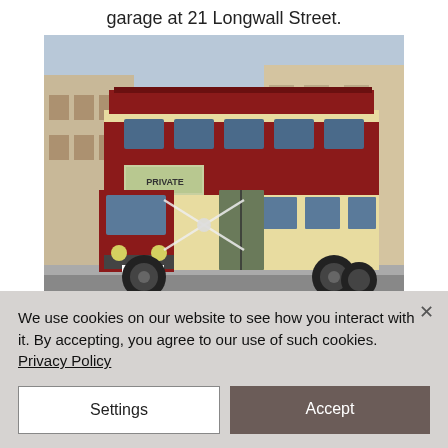garage at 21 Longwall Street.
[Figure (photo): A vintage red and cream double-decker bus with PRIVATE destination sign, decorated with white ribbons, parked on a street beside a stone building. License plate reads XTF 980.]
We use cookies on our website to see how you interact with it. By accepting, you agree to our use of such cookies. Privacy Policy
Settings
Accept